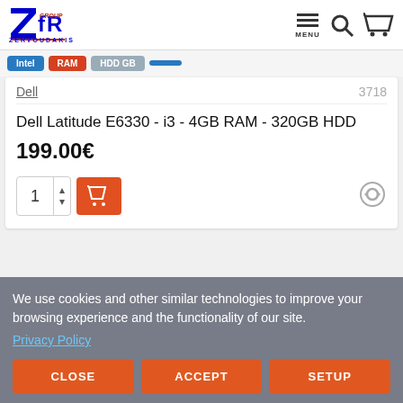ZFR GROUP ZERVOUDAKIS — MENU
Intel | RAM | HDD GB | [filter buttons]
Dell   3718
Dell Latitude E6330 - i3 - 4GB RAM - 320GB HDD
199.00€
We use cookies and other similar technologies to improve your browsing experience and the functionality of our site. Privacy Policy
CLOSE
ACCEPT
SETUP